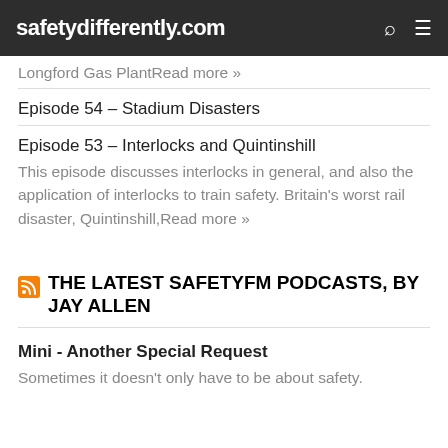safetydifferently.com
Longford Gas PlantRead more »
Episode 54 – Stadium Disasters
Episode 53 – Interlocks and Quintinshill
This episode discusses interlocks in general, and also the application of interlocks to train safety. Britain's worst rail disaster, Quintinshill,Read more »
THE LATEST SAFETYFM PODCASTS, BY JAY ALLEN
Mini - Another Special Request
Sometimes it doesn't only have to be about safety.